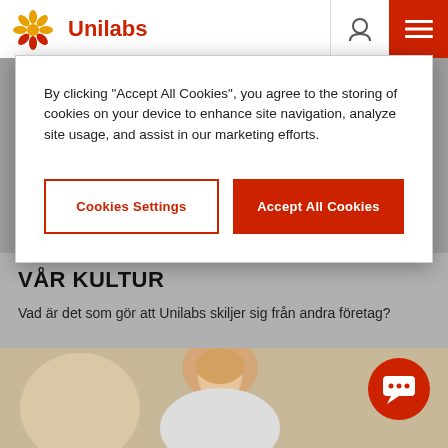[Figure (logo): Unilabs logo with sunburst icon and red text]
By clicking “Accept All Cookies”, you agree to the storing of cookies on your device to enhance site navigation, analyze site usage, and assist in our marketing efforts.
Cookies Settings
Accept All Cookies
VÅR KULTUR
Vad är det som gör att Unilabs skiljer sig från andra företag?
[Figure (photo): Woman smiling in a medical/laboratory setting]